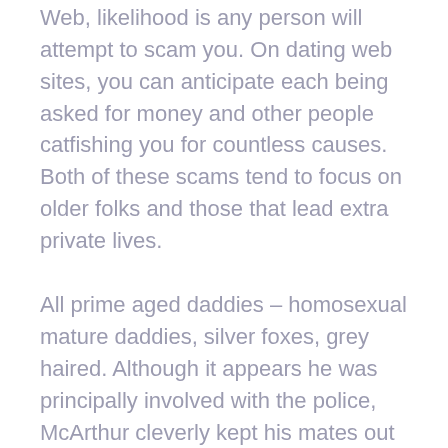Wherever it's possible you'll go on the Web, likelihood is any person will attempt to scam you. On dating web sites, you can anticipate each being asked for money and other people catfishing you for countless causes. Both of these scams tend to focus on older folks and those that lead extra private lives.
All prime aged daddies – homosexual mature daddies, silver foxes, grey haired. Although it appears he was principally involved with the police, McArthur cleverly kept his mates out of the loop as properly. Police have stated McArthur killed multiple people at his Thorncliffe Park house, but his roommate was none the wiser, based on the source.